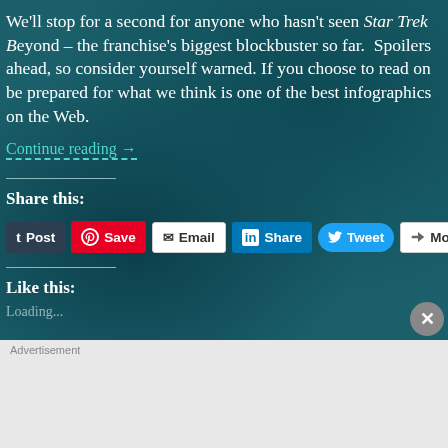We'll stop for a second for anyone who hasn't seen Star Trek Beyond – the franchise's biggest blockbuster so far. Spoilers ahead, so consider yourself warned. If you choose to read on be prepared for what we think is one of the best infographics on the Web.
Continue reading →
Share this:
Like this:
Loading...
[Figure (screenshot): WordPress VIP advertisement banner with colorful tiles and 'Learn more →' button]